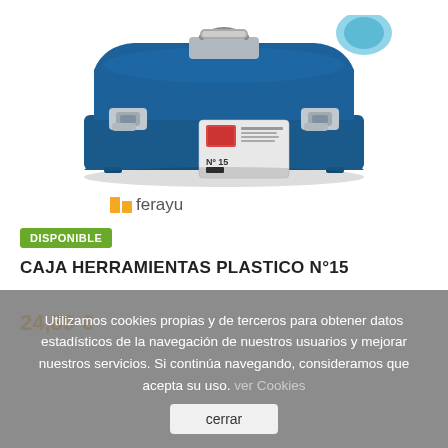[Figure (photo): Blue plastic toolbox (Nº15) with metal clasps and handle, product photo on white background]
ferayu
DISPONIBLE
CAJA HERRAMIENTAS PLASTICO Nº15
Utilizamos cookies propias y de terceros para obtener datos estadísticos de la navegación de nuestros usuarios y mejorar nuestros servicios. Si continúa navegando, consideramos que acepta su uso. ver Cookies
24,89 €
Comprar
cerrar